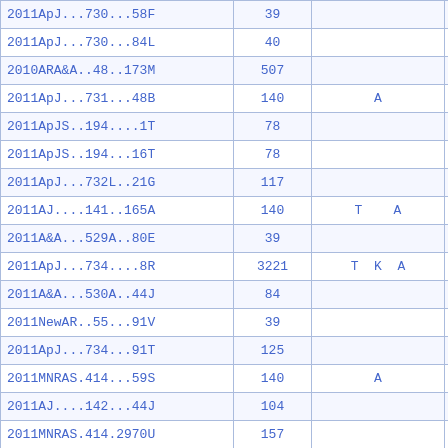| Reference | Value | Flags | Extra |
| --- | --- | --- | --- |
| 2011ApJ...730...58F | 39 |  |  |
| 2011ApJ...730...84L | 40 |  |  |
| 2010ARA&A..48..173M | 507 |  |  |
| 2011ApJ...731...48B | 140 | A |  |
| 2011ApJS..194....1T | 78 |  |  |
| 2011ApJS..194...16T | 78 |  |  |
| 2011ApJ...732L..21G | 117 |  |  |
| 2011AJ....141..165A | 140 | T    A |  |
| 2011A&A...529A..80E | 39 |  |  |
| 2011ApJ...734....8R | 3221 | T  K  A |  |
| 2011A&A...530A..44J | 84 |  |  |
| 2011NewAR..55...91V | 39 |  |  |
| 2011ApJ...734...91T | 125 |  |  |
| 2011MNRAS.414...59S | 140 | A |  |
| 2011AJ....142...44J | 104 |  | D |
| 2011MNRAS.414.2970U | 157 |  |  |
| 2011A&A...531A..81A | 78 |  |  |
| 2011ApJ...738...10W | 78 |  |  |
| 2011ApJ...738...91J | 78 |  |  |